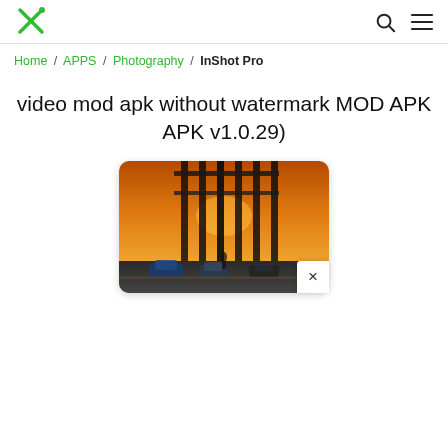Navigation header with logo and search/menu icons
Home / APPS / Photography / InShot Pro
video mod apk without watermark MOD APK APK v1.0.29)
[Figure (photo): A bridge at sunset with warm orange sky and cars below, rounded rectangle image]